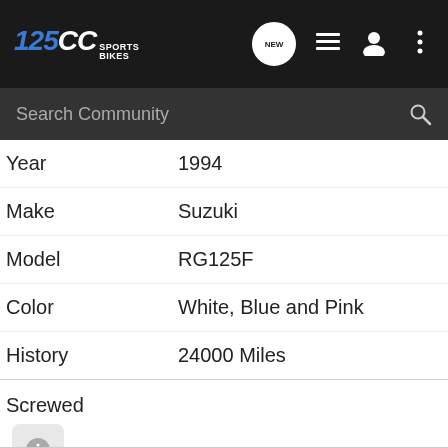125CC Sports Bikes
| Field | Value |
| --- | --- |
| Year | 1994 |
| Make | Suzuki |
| Model | RG125F |
| Color | White, Blue and Pink |
| History | 24000 Miles |
Screwed
Gallery